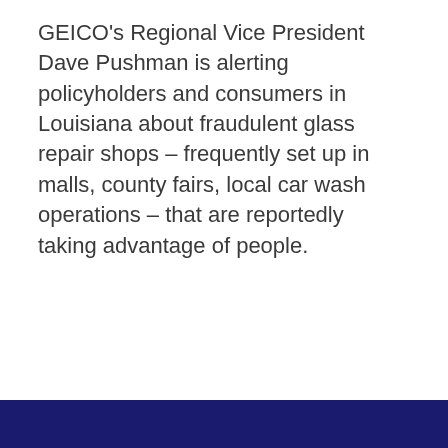GEICO's Regional Vice President Dave Pushman is alerting policyholders and consumers in Louisiana about fraudulent glass repair shops – frequently set up in malls, county fairs, local car wash operations – that are reportedly taking advantage of people.